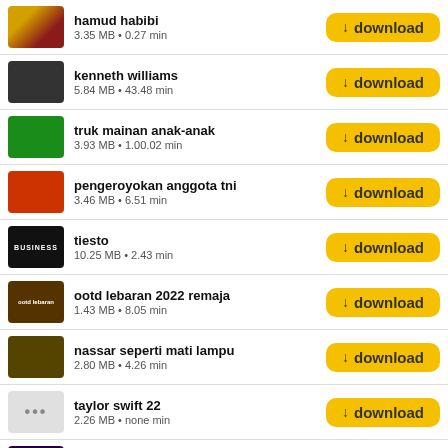hamud habibi — 3.35 MB • 0.27 min
kenneth williams — 5.84 MB • 43.48 min
truk mainan anak-anak — 3.93 MB • 1.00.02 min
pengeroyokan anggota tni — 3.46 MB • 6.51 min
tiesto — 10.25 MB • 2.43 min
ootd lebaran 2022 remaja — 1.43 MB • 8.05 min
nassar seperti mati lampu — 2.80 MB • 4.26 min
taylor swift 22 — 2.26 MB • none min
you right doja cat — partially visible